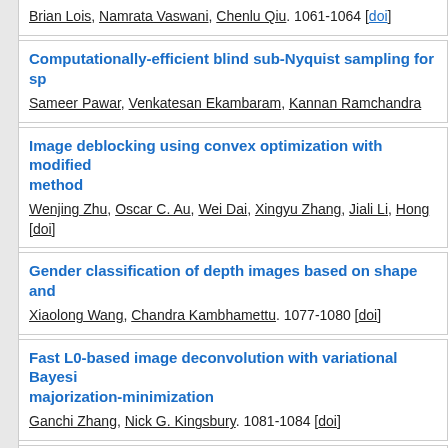Brian Lois, Namrata Vaswani, Chenlu Qiu. 1061-1064 [doi]
Computationally-efficient blind sub-Nyquist sampling for sp
Sameer Pawar, Venkatesan Ekambaram, Kannan Ramchandra
Image deblocking using convex optimization with modified method
Wenjing Zhu, Oscar C. Au, Wei Dai, Xingyu Zhang, Jiali Li, Hong [doi]
Gender classification of depth images based on shape and
Xiaolong Wang, Chandra Kambhamettu. 1077-1080 [doi]
Fast L0-based image deconvolution with variational Bayesia majorization-minimization
Ganchi Zhang, Nick G. Kingsbury. 1081-1084 [doi]
A variational framework for single low light image enhance channel prior